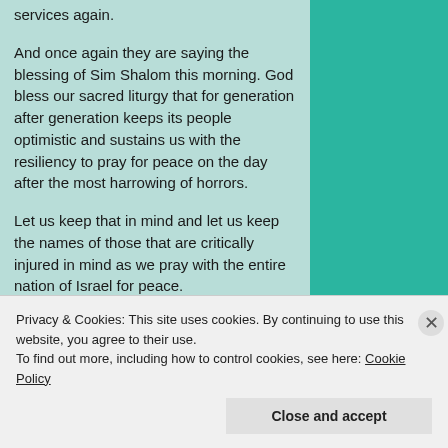services again.
And once again they are saying the blessing of Sim Shalom this morning. God bless our sacred liturgy that for generation after generation keeps its people optimistic and sustains us with the resiliency to pray for peace on the day after the most harrowing of horrors.
Let us keep that in mind and let us keep the names of those that are critically injured in mind as we pray with the entire nation of Israel for peace.
Sincerely,
Oliver Rosenberg
President & Founder
Privacy & Cookies: This site uses cookies. By continuing to use this website, you agree to their use.
To find out more, including how to control cookies, see here: Cookie Policy
Close and accept